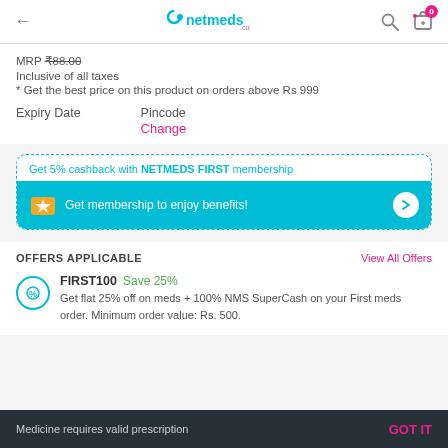netmeds.com
MRP ₹88.00
Inclusive of all taxes
* Get the best price on this product on orders above Rs 999
Expiry Date    Pincode
               Change
Get 5% cashback with NETMEDS FIRST membership
Get membership to enjoy benefits!
OFFERS APPLICABLE
View All Offers
FIRST100 Save 25%
Get flat 25% off on meds + 100% NMS SuperCash on your First meds order. Minimum order value: Rs. 500.
Medicine requires valid prescription    GOT IT